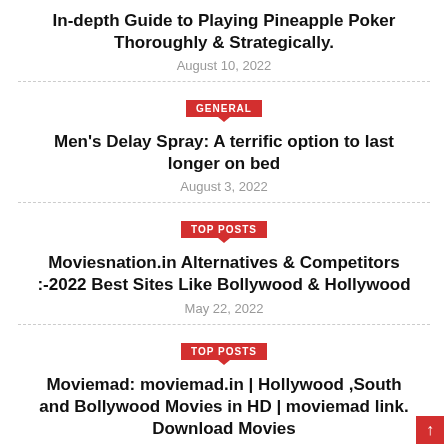In-depth Guide to Playing Pineapple Poker Thoroughly & Strategically.
August 10, 2022
GENERAL
Men's Delay Spray: A terrific option to last longer on bed
August 3, 2022
TOP POSTS
Moviesnation.in Alternatives & Competitors :-2022 Best Sites Like Bollywood & Hollywood
May 22, 2022
TOP POSTS
Moviemad: moviemad.in | Hollywood ,South and Bollywood Movies in HD | moviemad link. Download Movies